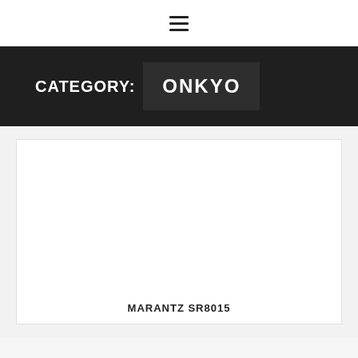[Figure (other): Hamburger menu icon with three horizontal lines]
CATEGORY: ONKYO
[Figure (photo): White card with product image area (blank white)]
MARANTZ SR8015